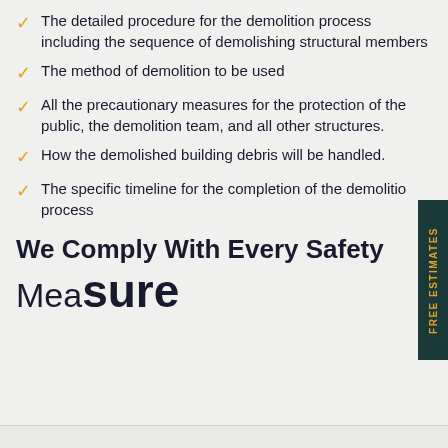The detailed procedure for the demolition process including the sequence of demolishing structural members
The method of demolition to be used
All the precautionary measures for the protection of the public, the demolition team, and all other structures.
How the demolished building debris will be handled.
The specific timeline for the completion of the demolition process
We Comply With Every Safety Measure